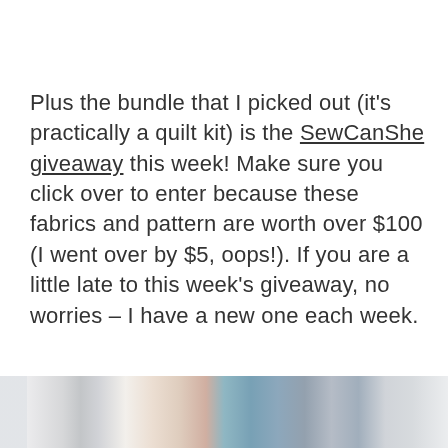Plus the bundle that I picked out (it's practically a quilt kit) is the SewCanShe giveaway this week! Make sure you click over to enter because these fabrics and pattern are worth over $100 (I went over by $5, oops!). If you are a little late to this week's giveaway, no worries – I have a new one each week.
[Figure (photo): Partial view of a photo strip at the bottom of the page showing a crafting/quilting scene with colorful fabric in blue and orange tones and a person visible on the right side.]